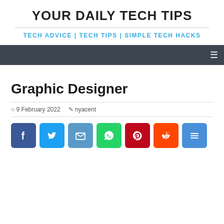YOUR DAILY TECH TIPS
TECH ADVICE | TECH TIPS | SIMPLE TECH HACKS
Graphic Designer
9 February 2022  nyacent
[Figure (infographic): Social share buttons: Facebook, Twitter, Email, WhatsApp, Pinterest, Reddit, More]